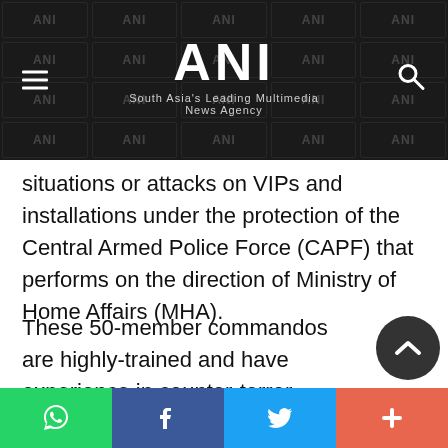ANI — South Asia's Leading Multimedia News Agency
situations or attacks on VIPs and installations under the protection of the Central Armed Police Force (CAPF) that performs on the direction of Ministry of Home Affairs (MHA).
These 50-member commandos are highly-trained and have experience in counter-terror operations in both Kashmir Valley and Left Wing Extremism (LWE) areas.